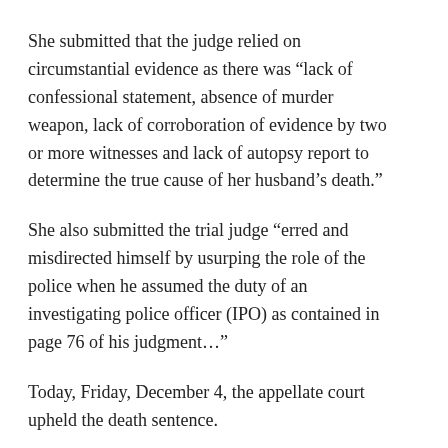She submitted that the judge relied on circumstantial evidence as there was “lack of confessional statement, absence of murder weapon, lack of corroboration of evidence by two or more witnesses and lack of autopsy report to determine the true cause of her husband’s death.”
She also submitted the trial judge “erred and misdirected himself by usurping the role of the police when he assumed the duty of an investigating police officer (IPO) as contained in page 76 of his judgment…”
Today, Friday, December 4, the appellate court upheld the death sentence.
It is not clear if Maryam would make use of the only available window, the supreme court, to seek further redress.